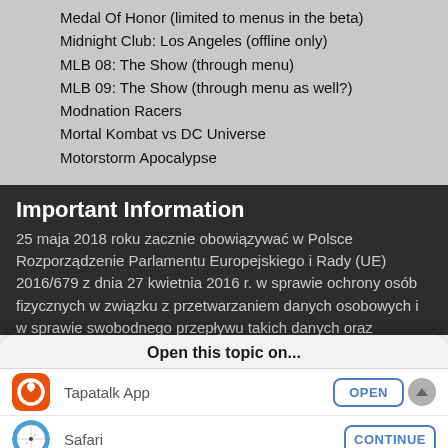Medal Of Honor (limited to menus in the beta)
Midnight Club: Los Angeles (offline only)
MLB 08: The Show (through menu)
MLB 09: The Show (through menu as well?)
Modnation Racers
Mortal Kombat vs DC Universe
Motorstorm Apocalypse
Important Information
25 maja 2018 roku zacznie obowiązywać w Polsce Rozporządzenie Parlamentu Europejskiego i Rady (UE) 2016/679 z dnia 27 kwietnia 2016 r. w sprawie ochrony osób fizycznych w związku z przetwarzaniem danych osobowych i w sprawie swobodnego przepływu takich danych oraz uchylenia dyrektywy 95/46/WE (określane
Open this topic on...
Tapatalk App
Safari